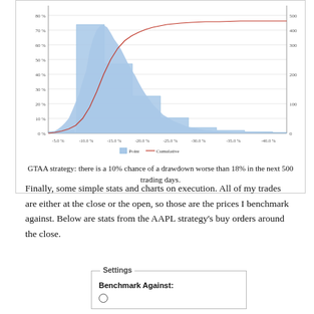[Figure (continuous-plot): Histogram with cumulative line overlay showing drawdown distribution for GTAA strategy. X-axis: drawdown percentages from -5% to -40%, left Y-axis: frequency percentages 0-80%, right Y-axis: cumulative count 0-500. Blue filled area histogram, red cumulative line.]
GTAA strategy: there is a 10% chance of a drawdown worse than 18% in the next 500 trading days.
Finally, some simple stats and charts on execution. All of my trades are either at the close or the open, so those are the prices I benchmark against. Below are stats from the AAPL strategy's buy orders around the close.
Settings — Benchmark Against: